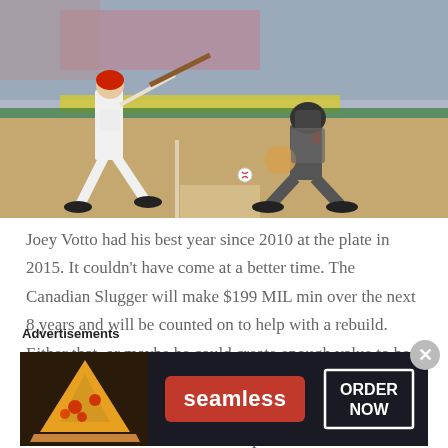[Figure (photo): Baseball action photo showing a batter in white uniform swinging at home plate, with a catcher in dark gray uniform crouching behind the plate. The scene is taken at a baseball stadium.]
Joey Votto had his best year since 2010 at the plate in 2015. It couldn't have come at a better time. The Canadian Slugger will make $199 MIL min over the next 8 years and will be counted on to help with a rebuild. Either that, or maybe he could create enough value to be traded and the club could gain some financial flexibility going forward. The Reds finished 64 – 98 in 2015 – and are in the same Division as the top three teams in the MLB. They should continue to trade veterans for as many young players as they can – and
Advertisements
[Figure (photo): Seamless food delivery advertisement banner with pizza image on left, Seamless red logo badge in center, and ORDER NOW button on right, all on dark background.]